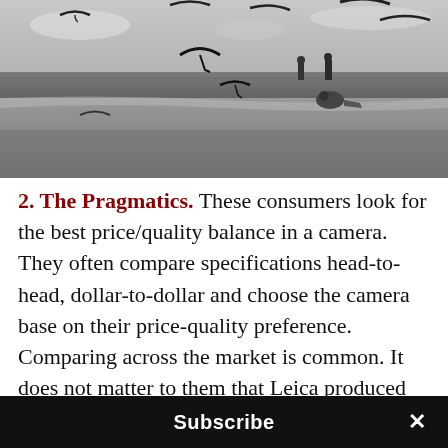[Figure (photo): Black and white photograph of seagulls flying and landing on a beach with two people standing in the background near the water's edge.]
2. The Pragmatics. These consumers look for the best price/quality balance in a camera. They often compare specifications head-to-head, dollar-to-dollar and choose the camera base on their price-quality preference. Comparing across the market is common. It does not matter to them that Leica produced the first digital RF that is capable of shooting video, but it matters that Leica is the last to have video function in
Subscribe ×